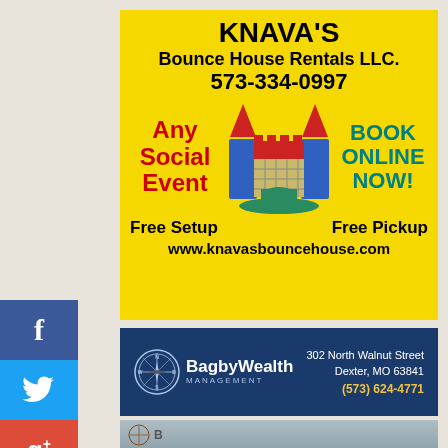[Figure (infographic): Knava's Bounce House Rentals LLC advertisement on yellow background with bounce house illustration. Text includes business name, phone number 573-334-0997, Any Social Event, BOOK ONLINE NOW!, Free Setup, Free Pickup, www.knavasbouncehouse.com]
[Figure (infographic): Bagby Wealth Management advertisement on dark blue background with compass logo, address: 302 North Walnut Street, Dexter, MO 63841, phone (573) 624-4771]
[Figure (infographic): Partial bottom advertisement partially visible, appears to be another Bagby Wealth Management ad with compass logo]
[Figure (infographic): Social media sidebar buttons: Facebook (blue), Twitter (light blue), Google+ (red)]